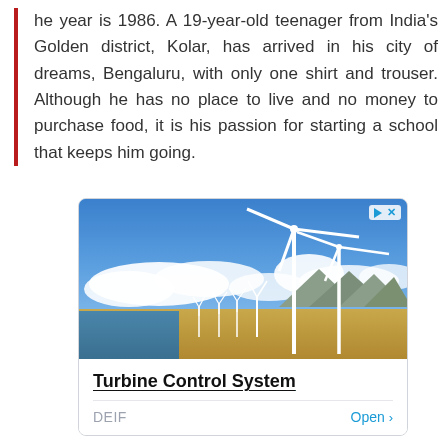The year is 1986. A 19-year-old teenager from India's Golden district, Kolar, has arrived in his city of dreams, Bengaluru, with only one shirt and trouser. Although he has no place to live and no money to purchase food, it is his passion for starting a school that keeps him going.
[Figure (photo): Advertisement showing wind turbines on a coastal landscape with blue sky and clouds. Features ad controls (triangle play icon and X) in top right corner. Below the image shows 'Turbine Control System' as the ad title (bold, underlined in blue), 'DEIF' brand name on the left and 'Open >' button in blue on the right.]